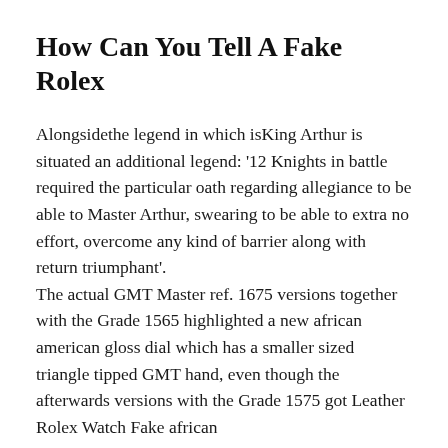How Can You Tell A Fake Rolex
Alongsidethe legend in which isKing Arthur is situated an additional legend: '12 Knights in battle required the particular oath regarding allegiance to be able to Master Arthur, swearing to be able to extra no effort, overcome any kind of barrier along with return triumphant'. The actual GMT Master ref. 1675 versions together with the Grade 1565 highlighted a new african american gloss dial which has a smaller sized triangle tipped GMT hand, even though the afterwards versions with the Grade 1575 got Leather Rolex Watch Fake african